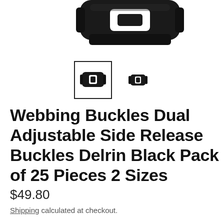[Figure (photo): Bottom portion of a large black plastic side-release buckle, cropped at top of frame, on white background]
[Figure (photo): Two thumbnail images of black plastic side-release buckles: one selected with a border showing a larger buckle, one unselected showing a smaller buckle]
Webbing Buckles Dual Adjustable Side Release Buckles Delrin Black Pack of 25 Pieces 2 Sizes
$49.80
Shipping calculated at checkout.